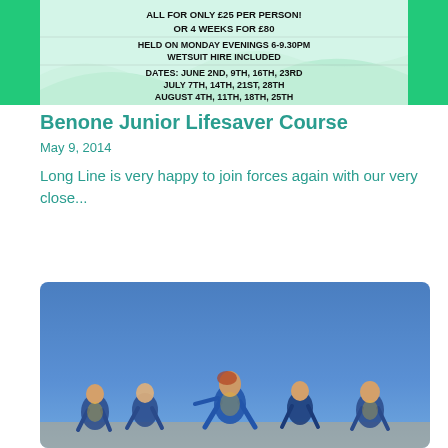[Figure (photo): Promotional flyer for a lifesaving course showing text: ALL FOR ONLY £25 PER PERSON! OR 4 WEEKS FOR £80. HELD ON MONDAY EVENINGS 6-9.30PM WETSUIT HIRE INCLUDED. DATES: JUNE 2ND, 9TH, 16TH, 23RD JULY 7TH, 14TH, 21ST, 28TH AUGUST 4TH, 11TH, 18TH, 25TH. Green and white background with mountain/wave silhouette.]
Benone Junior Lifesaver Course
May 9, 2014
Long Line is very happy to join forces again with our very close...
[Figure (photo): Children in blue and yellow sports vests running outdoors against a clear blue sky background.]